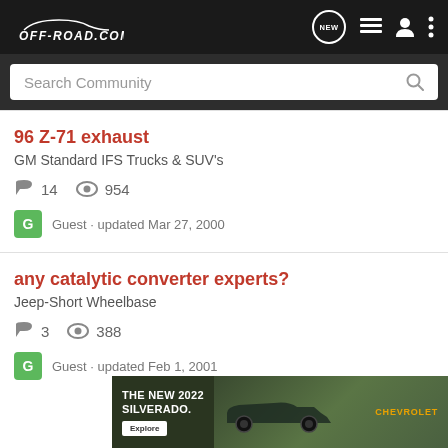OFF-ROAD.COM
Search Community
96 Z-71 exhaust
GM Standard IFS Trucks & SUV's
14  954
Guest · updated Mar 27, 2000
any catalytic converter experts?
Jeep-Short Wheelbase
3  388
Guest · updated Feb 1, 2001
[Figure (photo): Advertisement banner for The New 2022 Silverado by Chevrolet with an Explore button and a truck photo]